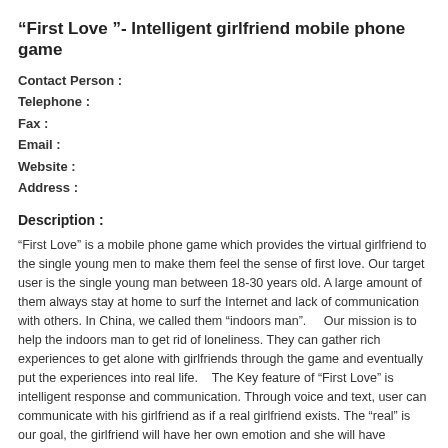“First Love ”- Intelligent girlfriend mobile phone game
Contact Person :
Telephone :
Fax :
Email :
Website :
Address :
Description :
“First Love” is a mobile phone game which provides the virtual girlfriend to the single young men to make them feel the sense of first love. Our target user is the single young man between 18-30 years old. A large amount of them always stay at home to surf the Internet and lack of communication with others. In China, we called them “indoors man”.    Our mission is to help the indoors man to get rid of loneliness. They can gather rich experiences to get alone with girlfriends through the game and eventually put the experiences into real life.    The Key feature of “First Love” is intelligent response and communication. Through voice and text, user can communicate with his girlfriend as if a real girlfriend exists. The “real” is our goal, the girlfriend will have her own emotion and she will have different responses according to some specific situation of the individual player. Tactile communication like touching and kiss will enhance the real feel.    With the perfection of the product and the expansion of the market, we will bring out virtual boyfriend service for female target group to satiate their needs. We will also build a multi-faceted 3D society for real people and virtual people online connecting them to other real people players. They will gain contact experience by playing with virtual boyfriends/girlfriends, and strengthen connection and communication with us in life, realize the process from virtual to real.